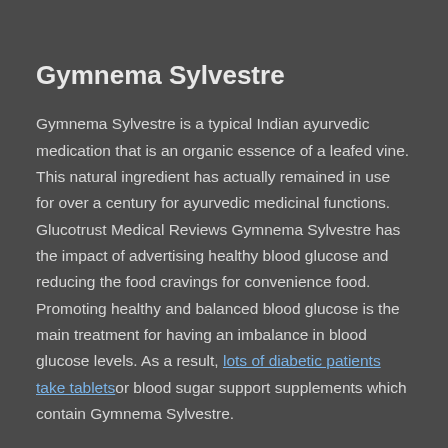Gymnema Sylvestre
Gymnema Sylvestre is a typical Indian ayurvedic medication that is an organic essence of a leafed vine. This natural ingredient has actually remained in use for over a century for ayurvedic medicinal functions. Glucotrust Medical Reviews Gymnema Sylvestre has the impact of advertising healthy blood glucose and reducing the food cravings for convenience food. Promoting healthy and balanced blood glucose is the main treatment for having an imbalance in blood glucose levels. As a result, lots of diabetic patients take tablets or blood sugar support supplements which contain Gymnema Sylvestre.